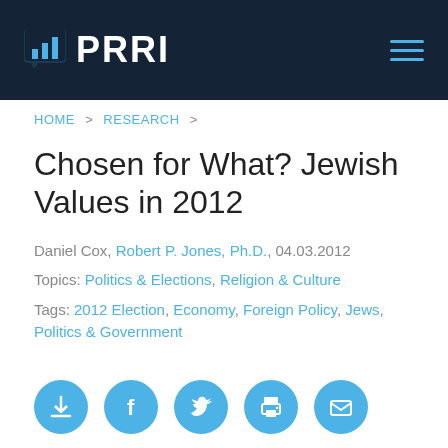PRRI
HOME > RESEARCH >
Chosen for What? Jewish Values in 2012
Daniel Cox, Robert P. Jones, Ph.D., 04.03.2012
Topics: Politics & Elections, Religion & Culture
Tags: 2012 Election, Economy, Foreign Policy, Jews, Politics & Government
[Figure (other): Social sharing icons row: download, Facebook, Twitter, print, email]